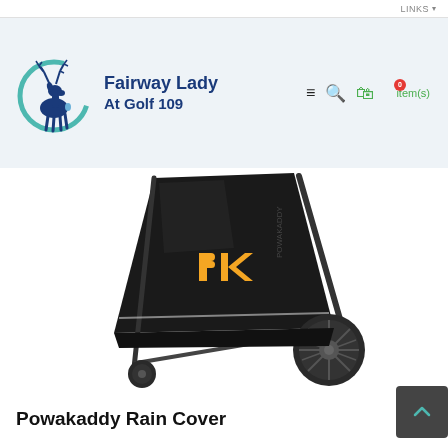LINKS ▾
[Figure (logo): Fairway Lady At Golf 109 logo with deer silhouette and circular teal arc]
Fairway Lady At Golf 109
[Figure (photo): Powakaddy golf trolley with black rain cover featuring yellow PK Powakaddy logo, shown with wheels on white background]
Powakaddy Rain Cover